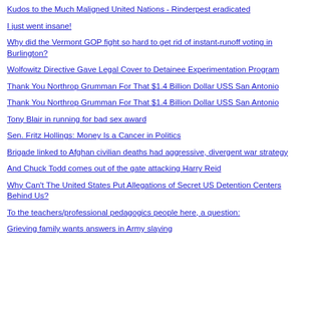Kudos to the Much Maligned United Nations - Rinderpest eradicated
I just went insane!
Why did the Vermont GOP fight so hard to get rid of instant-runoff voting in Burlington?
Wolfowitz Directive Gave Legal Cover to Detainee Experimentation Program
Thank You Northrop Grumman For That $1.4 Billion Dollar USS San Antonio
Thank You Northrop Grumman For That $1.4 Billion Dollar USS San Antonio
Tony Blair in running for bad sex award
Sen. Fritz Hollings: Money Is a Cancer in Politics
Brigade linked to Afghan civilian deaths had aggressive, divergent war strategy
And Chuck Todd comes out of the gate attacking Harry Reid
Why Can't The United States Put Allegations of Secret US Detention Centers Behind Us?
To the teachers/professional pedagogics people here, a question:
Grieving family wants answers in Army slaying